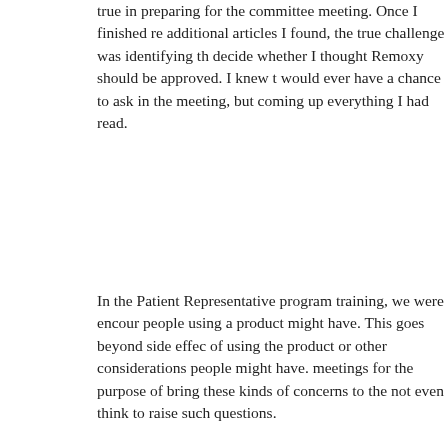true in preparing for the committee meeting. Once I finished re additional articles I found, the true challenge was identifying th decide whether I thought Remoxy should be approved. I knew t would ever have a chance to ask in the meeting, but coming up everything I had read.
In the Patient Representative program training, we were encour people using a product might have. This goes beyond side effec of using the product or other considerations people might have. meetings for the purpose of bring these kinds of concerns to the not even think to raise such questions.
In this case, I thought about how people with chronic pain make so many of us have comorbid medical conditions and take addit questions about the extent to which this was studied by the drug
Since Remoxy is an opioid with potentially abuse-deterrent pro about how a potential opioid abuser might approach the drug. H deterrent properties? The drug sponsor said that in addition to e